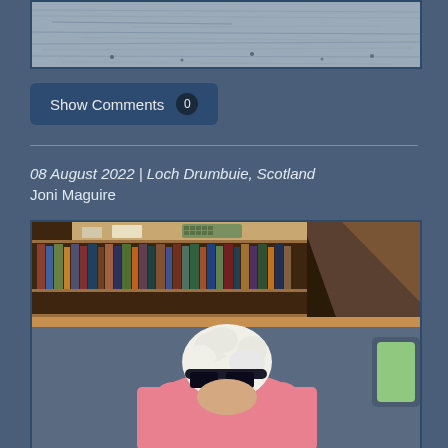[Figure (photo): Top portion of a photo showing water surface, grey textured water]
Show Comments 0
08 August 2022 | Loch Drumbuie, Scotland
Joni Maguire
[Figure (photo): Person with white curly hair and black headband/sunglasses wearing a pink t-shirt, sitting in a boat cabin interior with bookshelves behind them and a grey sofa]